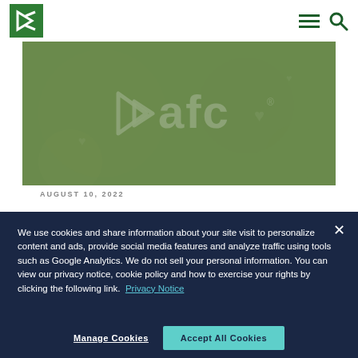[Figure (logo): Kepler logo - white K on green background square]
[Figure (photo): AFC branded hero image with green-tinted food photograph and AFC logo text in white]
AUGUST 10, 2022
We use cookies and share information about your site visit to personalize content and ads, provide social media features and analyze traffic using tools such as Google Analytics. We do not sell your personal information. You can view our privacy notice, cookie policy and how to exercise your rights by clicking the following link.  Privacy Notice
Manage Cookies
Accept All Cookies